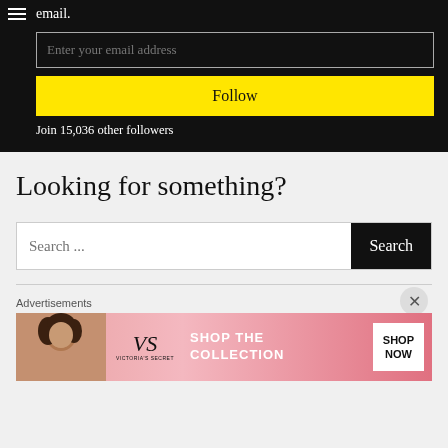email.
Enter your email address
Follow
Join 15,036 other followers
Looking for something?
Search ...
Advertisements
[Figure (photo): Victoria's Secret advertisement banner showing a model, VS logo, 'SHOP THE COLLECTION' text, and 'SHOP NOW' button]